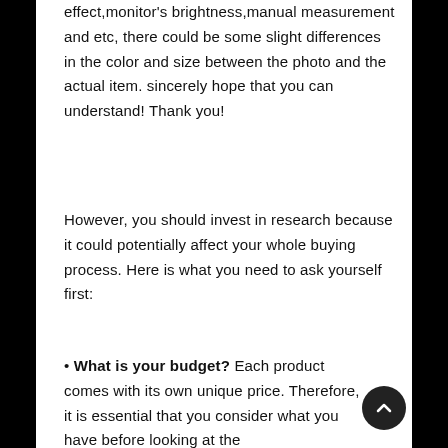effect,monitor's brightness,manual measurement and etc, there could be some slight differences in the color and size between the photo and the actual item. sincerely hope that you can understand! Thank you!
However, you should invest in research because it could potentially affect your whole buying process. Here is what you need to ask yourself first:
• What is your budget? Each product comes with its own unique price. Therefore, it is essential that you consider what you have before looking at the